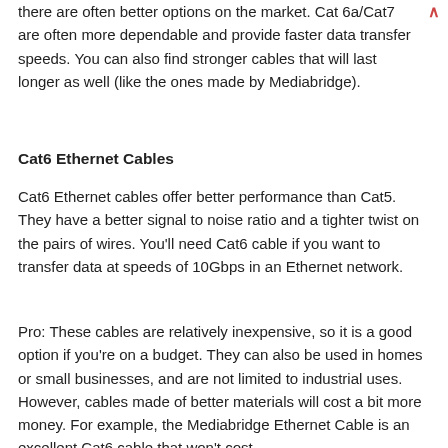there are often better options on the market. Cat 6a/Cat7 are often more dependable and provide faster data transfer speeds. You can also find stronger cables that will last longer as well (like the ones made by Mediabridge).
Cat6 Ethernet Cables
Cat6 Ethernet cables offer better performance than Cat5. They have a better signal to noise ratio and a tighter twist on the pairs of wires. You'll need Cat6 cable if you want to transfer data at speeds of 10Gbps in an Ethernet network.
Pro: These cables are relatively inexpensive, so it is a good option if you're on a budget. They can also be used in homes or small businesses, and are not limited to industrial uses. However, cables made of better materials will cost a bit more money. For example, the Mediabridge Ethernet Cable is an excellent Cat6 cable that won't cost